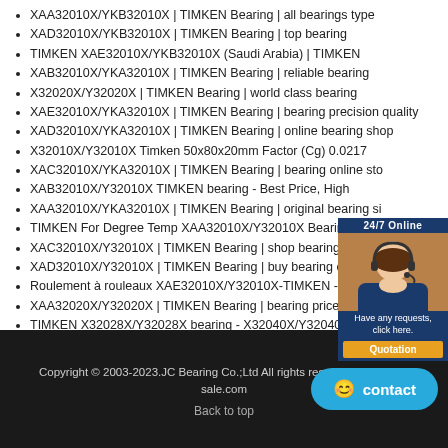XAA32010X/YKB32010X | TIMKEN Bearing | all bearings type
XAD32010X/YKB32010X | TIMKEN Bearing | top bearing
TIMKEN XAE32010X/YKB32010X (Saudi Arabia) | TIMKEN
XAB32010X/YKA32010X | TIMKEN Bearing | reliable bearing
X32020X/Y32020X | TIMKEN Bearing | world class bearing
XAE32010X/YKA32010X | TIMKEN Bearing | bearing precision quality
XAD32010X/YKA32010X | TIMKEN Bearing | online bearing shop
X32010X/Y32010X Timken 50x80x20mm Factor (Cg) 0.0217
XAC32010X/YKA32010X | TIMKEN Bearing | bearing online sto...
XAB32010X/Y32010X TIMKEN bearing - Best Price, High
XAA32010X/YKA32010X | TIMKEN Bearing | original bearing si...
TIMKEN For Degree Temp XAA32010X/Y32010X Bearing | TH...
XAC32010X/Y32010X | TIMKEN Bearing | shop bearing
XAD32010X/Y32010X | TIMKEN Bearing | buy bearing online
Roulement à rouleaux XAE32010X/Y32010X-TIMKEN - Le Bon
XAA32020X/Y32020X | TIMKEN Bearing | bearing price size
TIMKEN X32028X/Y32028X bearing - X32040X/Y32040X bearing
Copyright © 2003-2023.JC Bearing Co.;Ltd All rights reserved. | bearing-sale.com
Back to top